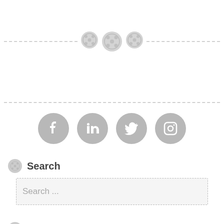[Figure (illustration): Dashed horizontal divider line with three button/gear decorative icons centered on it]
[Figure (illustration): Dashed horizontal divider line]
[Figure (illustration): Row of four social media icons (Facebook, LinkedIn, Twitter, Instagram) as gray filled circles with white logos]
Search
Search ...
Text Widget
This is a text widget, which allows you to add text or HTML to your